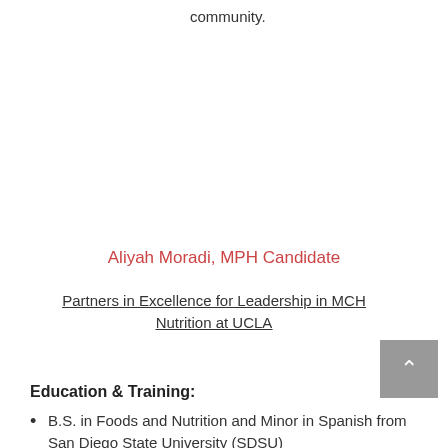community.
Aliyah Moradi, MPH Candidate
Partners in Excellence for Leadership in MCH Nutrition at UCLA
Education & Training:
B.S. in Foods and Nutrition and Minor in Spanish from San Diego State University (SDSU)
M.P.H. Student, Community